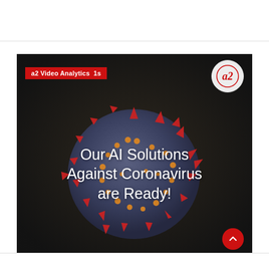[Figure (photo): A2 Video Analytics promotional banner showing a coronavirus particle model (dark blue sphere with red spike proteins and orange nodules) on a dark background, with white overlay text reading 'Our AI Solutions Against Coronavirus are Ready!']
a2 Video Analytics  1s
Our AI Solutions Against Coronavirus are Ready!